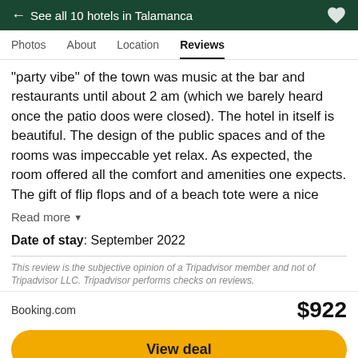← See all 10 hotels in Talamanca
Photos   About   Location   Reviews
"party vibe" of the town was music at the bar and restaurants until about 2 am (which we barely heard once the patio doos were closed). The hotel in itself is beautiful. The design of the public spaces and of the rooms was impeccable yet relax. As expected, the room offered all the comfort and amenities one expects. The gift of flip flops and of a beach tote were a nice
Read more ▾
Date of stay: September 2022
This review is the subjective opinion of a Tripadvisor member and not of Tripadvisor LLC. Tripadvisor performs checks on reviews.
Booking.com   $922
View deal
⊕ Visit hotel website ↗